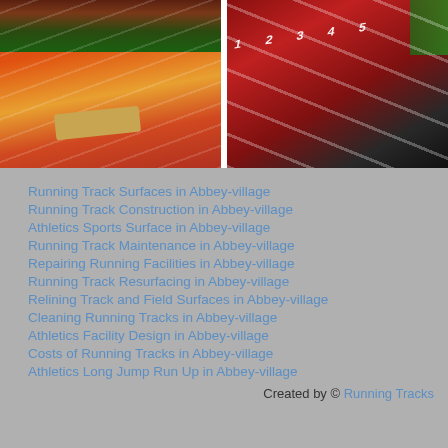[Figure (photo): Orange running track with stadium seating in background]
[Figure (photo): Red and dark running track with numbered lanes and green fence in background]
Running Track Surfaces in Abbey-village
Running Track Construction in Abbey-village
Athletics Sports Surface in Abbey-village
Running Track Maintenance in Abbey-village
Repairing Running Facilities in Abbey-village
Running Track Resurfacing in Abbey-village
Relining Track and Field Surfaces in Abbey-village
Cleaning Running Tracks in Abbey-village
Athletics Facility Design in Abbey-village
Costs of Running Tracks in Abbey-village
Athletics Long Jump Run Up in Abbey-village
Created by © Running Tracks